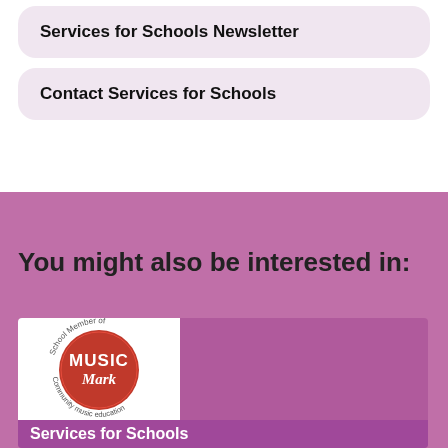Services for Schools Newsletter
Contact Services for Schools
You might also be interested in:
[Figure (logo): Music Mark School Member logo — circular red badge with 'MUSIC Mark' text and surrounding text 'School Member of Community music education']
Services for Schools